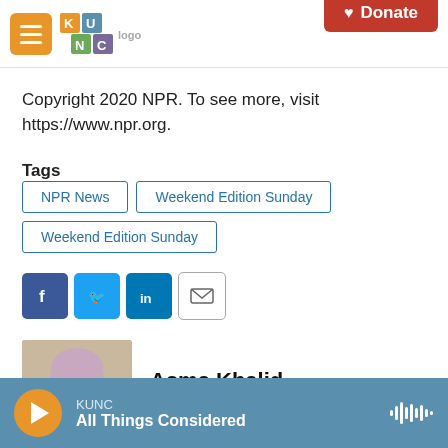KUNC logo and Donate button header
Copyright 2020 NPR. To see more, visit https://www.npr.org.
Tags  NPR News  Weekend Edition Sunday  Weekend Edition Sunday
[Figure (other): Social share buttons: Facebook, Twitter, LinkedIn, Email]
Asma Khalid
[Figure (photo): Photo of Asma Khalid]
KUNC All Things Considered